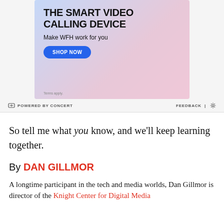[Figure (screenshot): Advertisement banner for a smart video calling device with blue gradient background. Shows headline 'THE SMART VIDEO CALLING DEVICE', subtitle 'Make WFH work for you', a blue 'SHOP NOW' button, and 'Terms apply' text. Below: 'POWERED BY CONCERT' and 'FEEDBACK' with settings gear icon.]
So tell me what you know, and we'll keep learning together.
By DAN GILLMOR
A longtime participant in the tech and media worlds, Dan Gillmor is director of the Knight Center for Digital Media